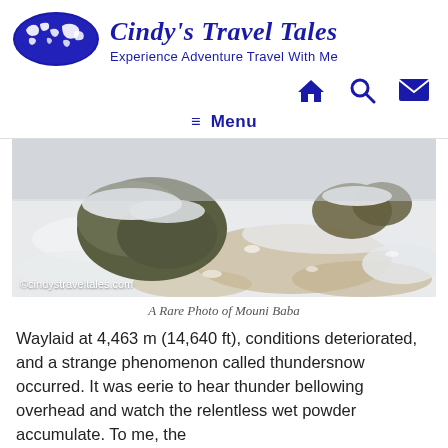[Figure (logo): Blue oval logo with white world map silhouette - Cindy's Travel Tales logo]
Cindy's Travel Tales
Experience Adventure Travel With Me
[Figure (infographic): Navigation icons: home (house), search (magnifying glass), email (envelope) in dark blue]
≡ Menu
[Figure (photo): Snow-covered rocks and sandy ground - rare photo of Mouni Baba. Watermark: ©cindystraveltales.com]
A Rare Photo of Mouni Baba
Waylaid at 4,463 m (14,640 ft), conditions deteriorated, and a strange phenomenon called thundersnow occurred. It was eerie to hear thunder bellowing overhead and watch the relentless wet powder accumulate. To me, the